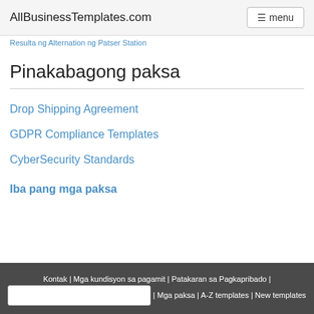AllBusinessTemplates.com  menu
Resulta ng Alternation ng Patser Station
Pinakabagong paksa
Drop Shipping Agreement
GDPR Compliance Templates
CyberSecurity Standards
Iba pang mga paksa
Kontak | Mga kundisyon sa pagamit | Patakaran sa Pagkapribado | Mag-upload ng iyong sariling template | Mga paksa | A-Z templates | New templates